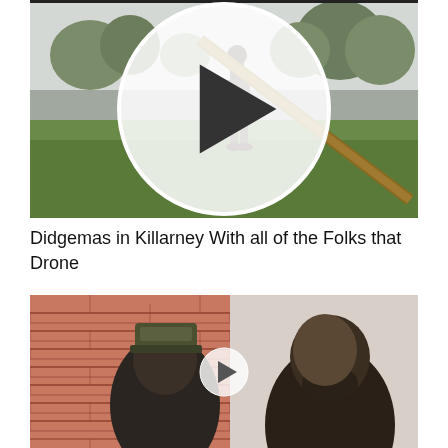[Figure (photo): Video thumbnail: man standing on a green lawn holding a large musical instrument (didgeridoo) with trees in the background. A white circular play button overlay is in the center.]
Didgemas in Killarney With all of the Folks that Drone
[Figure (photo): Video thumbnail: two men side by side. Left man wears a decorative hat and stands in front of a brick wall. Right man has a shaved head and stands against a light wall. A white circular play button overlay is in the center.]